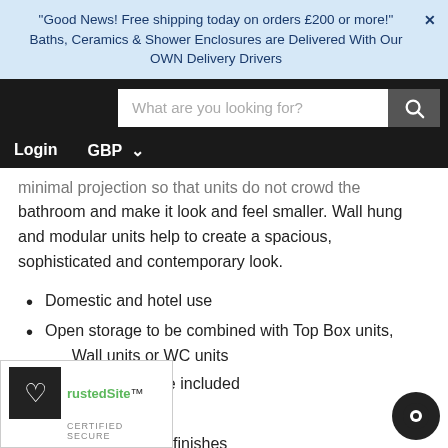"Good News! Free shipping today on orders £200 or more!" X
Baths, Ceramics & Shower Enclosures are Delivered With Our OWN Delivery Drivers
[Figure (screenshot): Website navigation bar with search input field and search button on dark background]
minimal projection so that units do not crowd the bathroom and make it look and feel smaller. Wall hung and modular units help to create a spacious, sophisticated and contemporary look.
Domestic and hotel use
Open storage to be combined with Top Box units, Wall units or WC units
Hanging hardware included
One shelf
e in all 6 Concept finishes
[Figure (logo): TrustedSite certified secure badge with heart icon]
[Figure (other): Chat button (dark circle with chat icon) in bottom right corner]